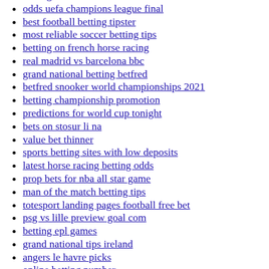betting louisville
odds uefa champions league final
best football betting tipster
most reliable soccer betting tips
betting on french horse racing
real madrid vs barcelona bbc
grand national betting betfred
betfred snooker world championships 2021
betting championship promotion
predictions for world cup tonight
bets on stosur li na
value bet thinner
sports betting sites with low deposits
latest horse racing betting odds
prop bets for nba all star game
man of the match betting tips
totesport landing pages football free bet
psg vs lille preview goal com
betting epl games
grand national tips ireland
angers le havre picks
online betting number
sky bet promo code enter
vegas betting odds nba
champions league semi final 2nd leg predictions